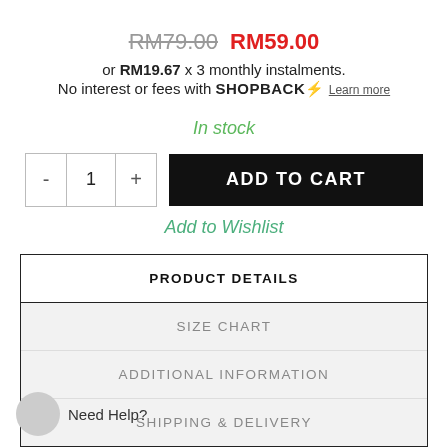RM79.00 RM59.00
or RM19.67 x 3 monthly instalments. No interest or fees with SHOPBACK$ Learn more
In stock
- 1 + ADD TO CART
Add to Wishlist
| PRODUCT DETAILS |
| SIZE CHART |
| ADDITIONAL INFORMATION |
| SHIPPING & DELIVERY |
Need Help?